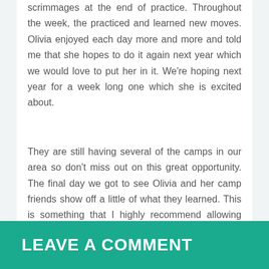scrimmages at the end of practice. Throughout the week, the practiced and learned new moves. Olivia enjoyed each day more and more and told me that she hopes to do it again next year which we would love to put her in it. We're hoping next year for a week long one which she is excited about.
They are still having several of the camps in our area so don't miss out on this great opportunity. The final day we got to see Olivia and her camp friends show off a little of what they learned. This is something that I highly recommend allowing your child or children to participate in.
https://www.livyupdater.com/2018/07/27/british-soccer-camp-review/
LEAVE A COMMENT